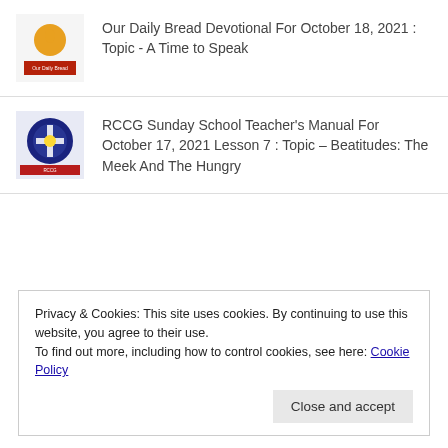Our Daily Bread Devotional For October 18, 2021 : Topic - A Time to Speak
RCCG Sunday School Teacher's Manual For October 17, 2021 Lesson 7 : Topic – Beatitudes: The Meek And The Hungry
Privacy & Cookies: This site uses cookies. By continuing to use this website, you agree to their use.
To find out more, including how to control cookies, see here: Cookie Policy